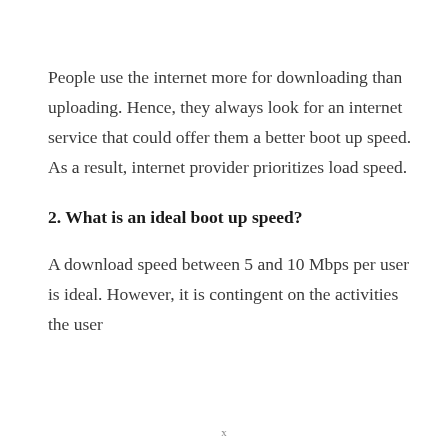People use the internet more for downloading than uploading. Hence, they always look for an internet service that could offer them a better boot up speed. As a result, internet provider prioritizes load speed.
2. What is an ideal boot up speed?
A download speed between 5 and 10 Mbps per user is ideal. However, it is contingent on the activities the user